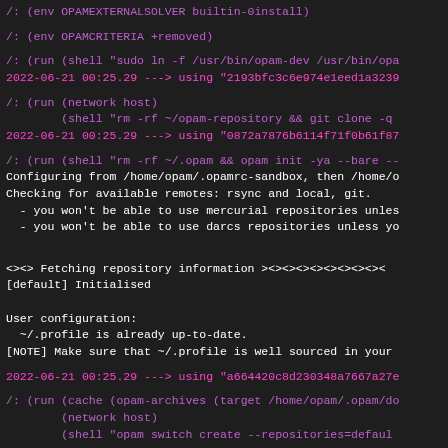/: (env OPAMEXTERNALSOLVER builtin-0install)
/: (env OPAMCRITERIA +removed)
/: (run (shell "sudo ln -f /usr/bin/opam-dev /usr/bin/opa
2022-06-21 00:25.29 ---> using "2193bfc3c6e974e1eed1a3239..."
/: (run (network host)
        (shell "rm -rf ~/opam-repository && git clone -q
2022-06-21 00:25.29 ---> using "0872a7876b6114f71f0b61f87..."
/: (run (shell "rm -rf ~/.opam && opam init -ya --bare --
Configuring from /home/opam/.opamrc-sandbox, then /home/o
Checking for available remotes: rsync and local, git.
  - you won't be able to use mercurial repositories unles
  - you won't be able to use darcs repositories unless yo
<><> Fetching repository information ><><><><><><><><><
[default] Initialised

User configuration:
  ~/.profile is already up-to-date.
[NOTE] Make sure that ~/.profile is well sourced in your
2022-06-21 00:25.29 ---> using "a664420c8d230348a7667a27e..."
/: (run (cache (opam-archives (target /home/opam/.opam/do
        (network host)
        (shell "opam switch create --repositories=defaul